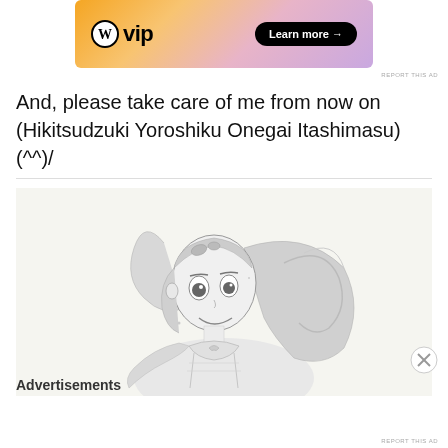[Figure (screenshot): WordPress VIP advertisement banner with gradient orange-pink-purple background, WordPress W logo on left, 'vip' text, and 'Learn more →' button on right]
REPORT THIS AD
And, please take care of me from now on (Hikitsudzuki Yoroshiku Onegai Itashimasu) (^^)/
[Figure (illustration): Anime-style pencil sketch illustration of a young girl with long flowing hair, wearing a school uniform with a bow, looking upward with a slight smile. Grayscale/black and white drawing style.]
Advertisements
REPORT THIS AD